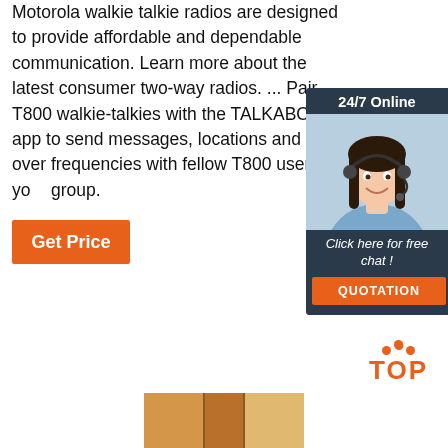Motorola walkie talkie radios are designed to provide affordable and dependable communication. Learn more about the latest consumer two-way radios. ... Pair T800 walkie-talkies with the TALKABOUT app to send messages, locations and more over frequencies with fellow T800 users in your group.
[Figure (infographic): Customer service chat widget with '24/7 Online' header, photo of smiling woman wearing headset, 'Click here for free chat!' text, and orange QUOTATION button]
Get Price
[Figure (logo): TOP logo with orange dots arranged in a triangle above the word TOP in orange bold letters]
[Figure (photo): Partial bottom edge of a product or book image]